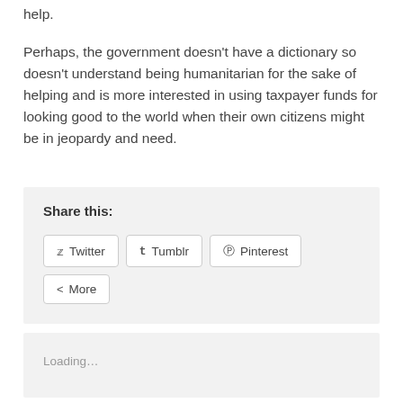help.
Perhaps, the government doesn’t have a dictionary so doesn’t understand being humanitarian for the sake of helping and is more interested in using taxpayer funds for looking good to the world when their own citizens might be in jeopardy and need.
Share this:
Twitter  Tumblr  Pinterest  More
Loading…